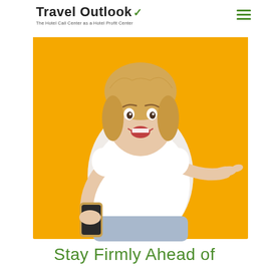Travel Outlook — The Hotel Call Center as a Hotel Profit Center
[Figure (photo): A smiling young woman with blonde hair wearing a white t-shirt and jeans, holding a smartphone and pointing at it with her right hand. She stands against a bright yellow/amber background. The image is used as a hero banner for the Travel Outlook website.]
Stay Firmly Ahead of